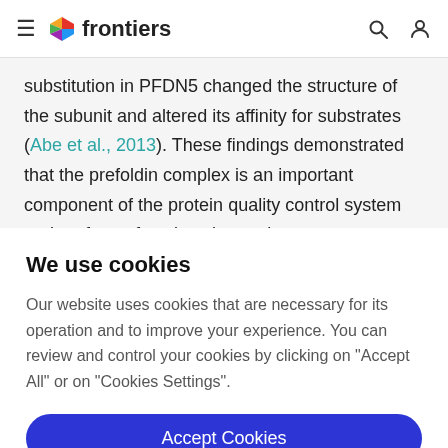frontiers
substitution in PFDN5 changed the structure of the subunit and altered its affinity for substrates (Abe et al., 2013). These findings demonstrated that the prefoldin complex is an important component of the protein quality control system and performs functions beyond
We use cookies
Our website uses cookies that are necessary for its operation and to improve your experience. You can review and control your cookies by clicking on "Accept All" or on "Cookies Settings".
Accept Cookies
Cookies Settings